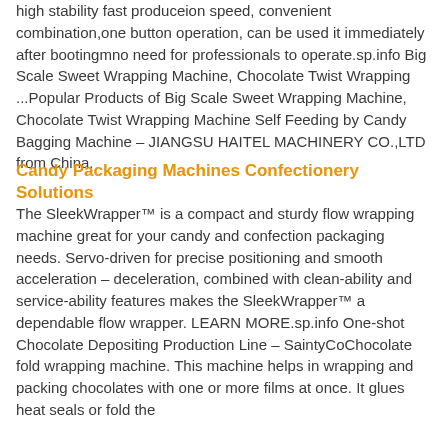high stability fast produceion speed, convenient combination,one button operation, can be used it immediately after bootingmno need for professionals to operate.sp.info Big Scale Sweet Wrapping Machine, Chocolate Twist Wrapping ...Popular Products of Big Scale Sweet Wrapping Machine, Chocolate Twist Wrapping Machine Self Feeding by Candy Bagging Machine – JIANGSU HAITEL MACHINERY CO.,LTD from China.
Candy Packaging Machines Confectionery Solutions
The SleekWrapper™ is a compact and sturdy flow wrapping machine great for your candy and confection packaging needs. Servo-driven for precise positioning and smooth acceleration – deceleration, combined with clean-ability and service-ability features makes the SleekWrapper™ a dependable flow wrapper. LEARN MORE.sp.info One-shot Chocolate Depositing Production Line – SaintyCoChocolate fold wrapping machine. This machine helps in wrapping and packing chocolates with one or more films at once. It glues heat seals or fold the